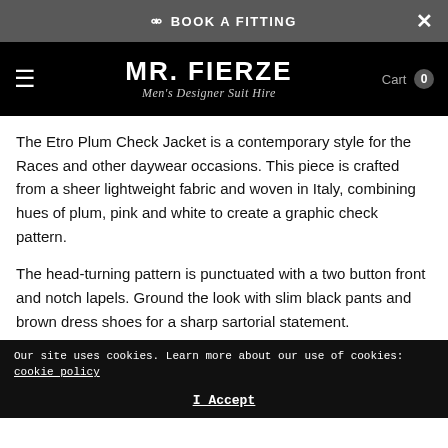BOOK A FITTING
MR. FIERZE — Men's Designer Suit Hire
The Etro Plum Check Jacket is a contemporary style for the Races and other daywear occasions. This piece is crafted from a sheer lightweight fabric and woven in Italy, combining hues of plum, pink and white to create a graphic check pattern.
The head-turning pattern is punctuated with a two button front and notch lapels. Ground the look with slim black pants and brown dress shoes for a sharp sartorial statement.
Our site uses cookies. Learn more about our use of cookies: cookie policy | I Accept